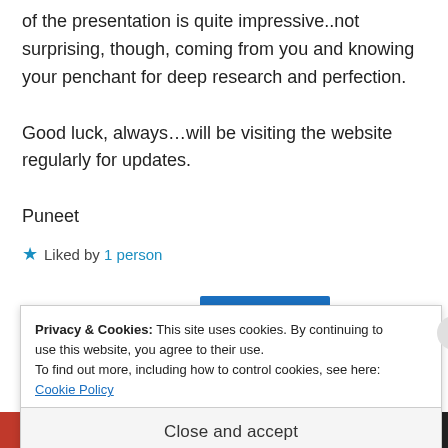of the presentation is quite impressive..not surprising, though, coming from you and knowing your penchant for deep research and perfection.
Good luck, always…will be visiting the website regularly for updates.
Puneet
★ Liked by 1 person
Privacy & Cookies: This site uses cookies. By continuing to use this website, you agree to their use.
To find out more, including how to control cookies, see here: Cookie Policy
Close and accept